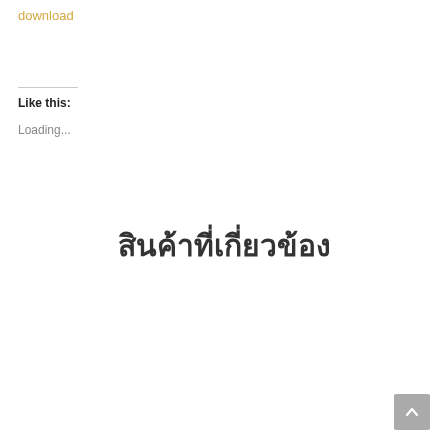download
Like this:
Loading...
สินค้าที่เกี่ยวข้อง